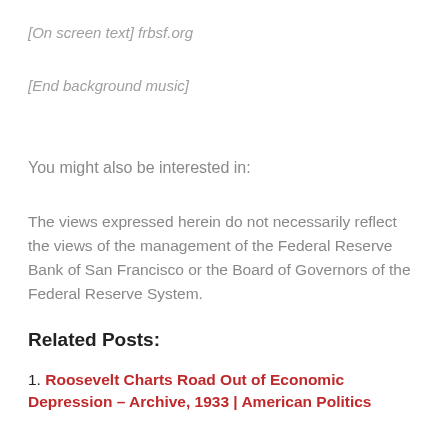[On screen text] frbsf.org
[End background music]
You might also be interested in:
The views expressed herein do not necessarily reflect the views of the management of the Federal Reserve Bank of San Francisco or the Board of Governors of the Federal Reserve System.
Related Posts:
1. Roosevelt Charts Road Out of Economic Depression – Archive, 1933 | American Politics